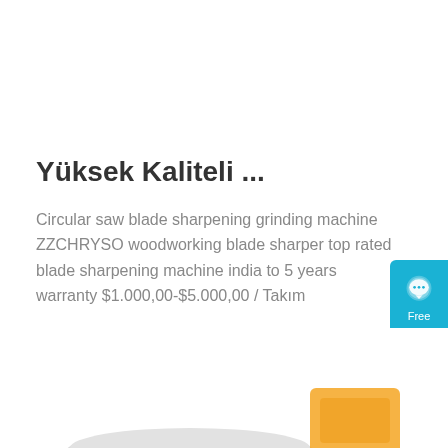Yüksek Kaliteli ...
Circular saw blade sharpening grinding machine ZZCHRYSO woodworking blade sharper top rated blade sharpening machine india to 5 years warranty $1.000,00-$5.000,00 / Takım
[Figure (other): Orange 'Get Price' button]
[Figure (other): Blue chat widget on right side with speech bubble icon, text 'Free Chat']
[Figure (photo): Product image at bottom: circular saw blade sharpening machine, metallic silver blade visible at bottom left and yellow/orange component at bottom right]